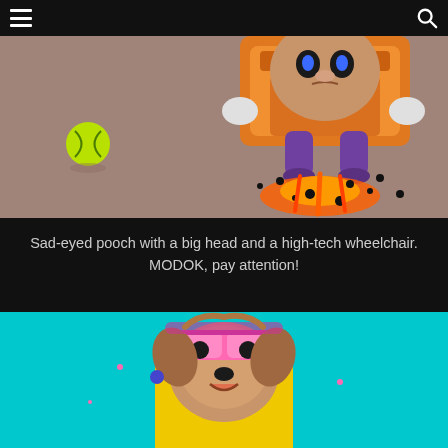≡  🔍
[Figure (illustration): Comic-style illustration of a dog with a big head riding a high-tech hover wheelchair/throne on a mauve/brownish-pink background, with a yellow-green tennis ball visible on the left side and flame/explosion effects below the chair.]
Sad-eyed pooch with a big head and a high-tech wheelchair. MODOK, pay attention!
[Figure (illustration): Illustration of a cute Yorkshire Terrier dog wearing a yellow raincoat, pink visor sunglasses, and pink accessories on a teal/turquoise background.]